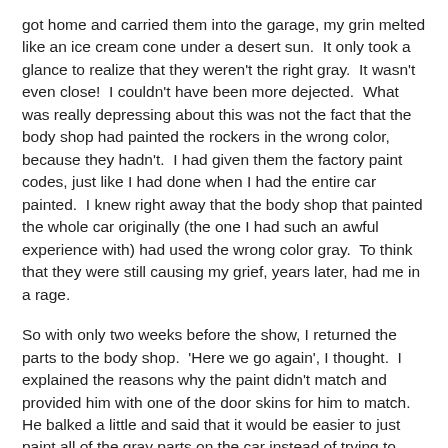got home and carried them into the garage, my grin melted like an ice cream cone under a desert sun.  It only took a glance to realize that they weren't the right gray.  It wasn't even close!  I couldn't have been more dejected.  What was really depressing about this was not the fact that the body shop had painted the rockers in the wrong color, because they hadn't.  I had given them the factory paint codes, just like I had done when I had the entire car painted.  I knew right away that the body shop that painted the whole car originally (the one I had such an awful experience with) had used the wrong color gray.  To think that they were still causing my grief, years later, had me in a rage.
So with only two weeks before the show, I returned the parts to the body shop.  'Here we go again', I thought.  I explained the reasons why the paint didn't match and provided him with one of the door skins for him to match.  He balked a little and said that it would be easier to just paint all of the gray parts on the car instead of trying to match a couple panels.  There was no time for repainting half the car, so I just asked him to get it as close as possible.